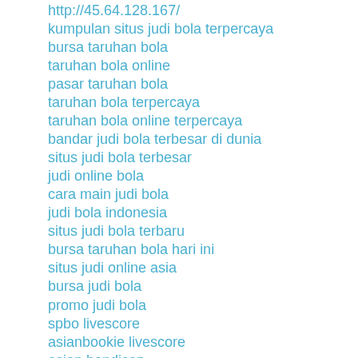http://45.64.128.167/
kumpulan situs judi bola terpercaya
bursa taruhan bola
taruhan bola online
pasar taruhan bola
taruhan bola terpercaya
taruhan bola online terpercaya
bandar judi bola terbesar di dunia
situs judi bola terbesar
judi online bola
cara main judi bola
judi bola indonesia
situs judi bola terbaru
bursa taruhan bola hari ini
situs judi online asia
bursa judi bola
promo judi bola
spbo livescore
asianbookie livescore
asian handicap
tips mix parlay gratis
prediksi mix parlay
mix parlay